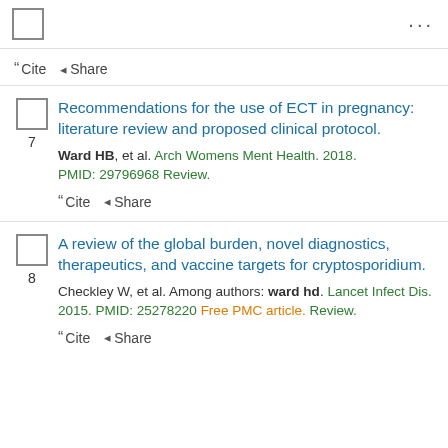☑ Cite Share ...
7. Recommendations for the use of ECT in pregnancy: literature review and proposed clinical protocol. Ward HB, et al. Arch Womens Ment Health. 2018. PMID: 29796968 Review.
8. A review of the global burden, novel diagnostics, therapeutics, and vaccine targets for cryptosporidium. Checkley W, et al. Among authors: ward hd. Lancet Infect Dis. 2015. PMID: 25278220 Free PMC article. Review.